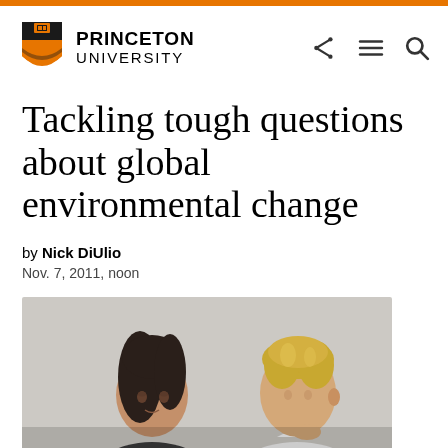Princeton University
Tackling tough questions about global environmental change
by Nick DiUlio
Nov. 7, 2011, noon
[Figure (photo): Two students in discussion — a woman with dark hair on the left and a man with blonde hair on the right, photographed against a light gray background]